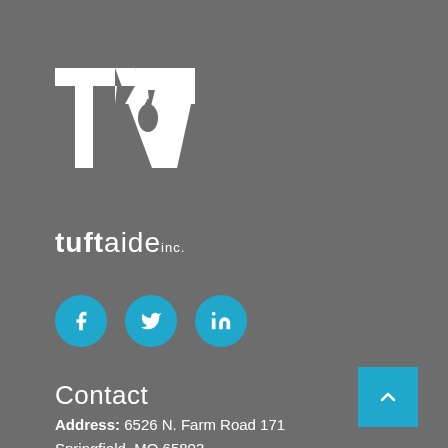[Figure (logo): TA logo with water drop, white on gray background]
tuft aide inc.
[Figure (infographic): Three cyan circular social media icons: Facebook (f), Twitter (bird), LinkedIn (in)]
Contact
Address: 6526 N. Farm Road 171
Springfield, MO 65803